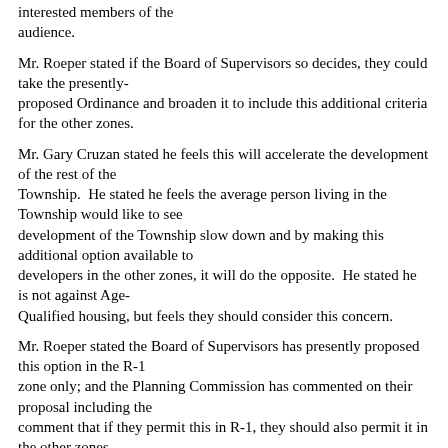interested members of the audience.
Mr. Roeper stated if the Board of Supervisors so decides, they could take the presently-proposed Ordinance and broaden it to include this additional criteria for the other zones.
Mr. Gary Cruzan stated he feels this will accelerate the development of the rest of the Township. He stated he feels the average person living in the Township would like to see development of the Township slow down and by making this additional option available to developers in the other zones, it will do the opposite. He stated he is not against Age-Qualified housing, but feels they should consider this concern.
Mr. Roeper stated the Board of Supervisors has presently proposed this option in the R-1 zone only; and the Planning Commission has commented on their proposal including the comment that if they permit this in R-1, they should also permit it in the other zones. Whether or not the Ordinance is amended is a decision to be made by the Board of